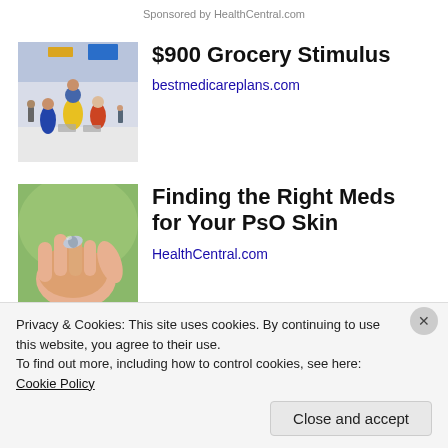Sponsored by HealthCentral.com
[Figure (photo): People shopping in a grocery store with shopping carts, viewed from behind]
$900 Grocery Stimulus
bestmedicareplans.com
[Figure (photo): A hand holding a small pill or medication capsule with a blurred green background]
Finding the Right Meds for Your PsO Skin
HealthCentral.com
Privacy & Cookies: This site uses cookies. By continuing to use this website, you agree to their use. To find out more, including how to control cookies, see here: Cookie Policy
Close and accept